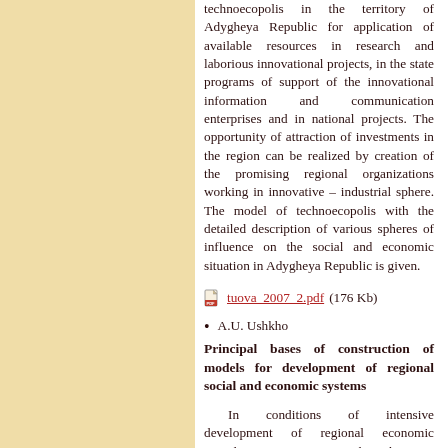technoecopolis in the territory of Adygheya Republic for application of available resources in research and laborious innovational projects, in the state programs of support of the innovational information and communication enterprises and in national projects. The opportunity of attraction of investments in the region can be realized by creation of the promising regional organizations working in innovative – industrial sphere. The model of technoecopolis with the detailed description of various spheres of influence on the social and economic situation in Adygheya Republic is given.
[Figure (other): PDF file icon with link: tuova_2007_2.pdf (176 Kb)]
A.U. Ushkho
Principal bases of construction of models for development of regional social and economic systems
In conditions of intensive development of regional economic complexes, management by them is possible only under condition of presence of an information database on the dynamics of their functioning.